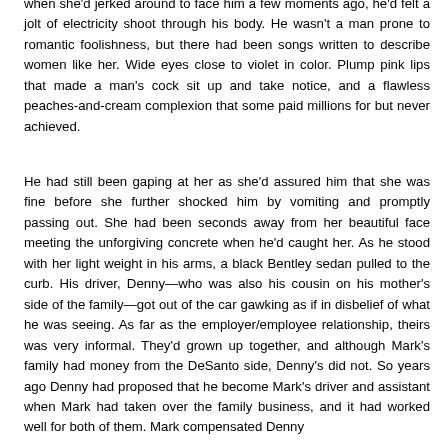when she'd jerked around to face him a few moments ago, he'd felt a jolt of electricity shoot through his body. He wasn't a man prone to romantic foolishness, but there had been songs written to describe women like her. Wide eyes close to violet in color. Plump pink lips that made a man's cock sit up and take notice, and a flawless peaches-and-cream complexion that some paid millions for but never achieved.
He had still been gaping at her as she'd assured him that she was fine before she further shocked him by vomiting and promptly passing out. She had been seconds away from her beautiful face meeting the unforgiving concrete when he'd caught her. As he stood with her light weight in his arms, a black Bentley sedan pulled to the curb. His driver, Denny—who was also his cousin on his mother's side of the family—got out of the car gawking as if in disbelief of what he was seeing. As far as the employer/employee relationship, theirs was very informal. They'd grown up together, and although Mark's family had money from the DeSanto side, Denny's did not. So years ago Denny had proposed that he become Mark's driver and assistant when Mark had taken over the family business, and it had worked well for both of them. Mark compensated Denny